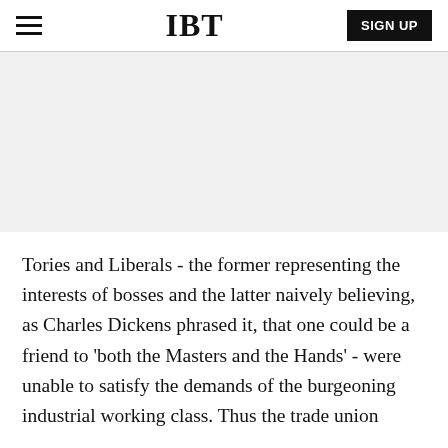IBT
[Figure (other): Gray advertisement placeholder banner]
Tories and Liberals - the former representing the interests of bosses and the latter naively believing, as Charles Dickens phrased it, that one could be a friend to 'both the Masters and the Hands' - were unable to satisfy the demands of the burgeoning industrial working class. Thus the trade union